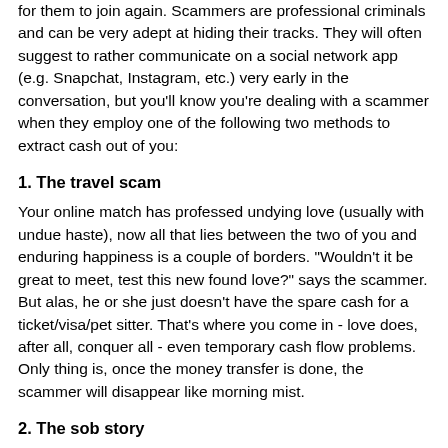for them to join again. Scammers are professional criminals and can be very adept at hiding their tracks. They will often suggest to rather communicate on a social network app (e.g. Snapchat, Instagram, etc.) very early in the conversation, but you'll know you're dealing with a scammer when they employ one of the following two methods to extract cash out of you:
1. The travel scam
Your online match has professed undying love (usually with undue haste), now all that lies between the two of you and enduring happiness is a couple of borders. "Wouldn't it be great to meet, test this new found love?" says the scammer. But alas, he or she just doesn't have the spare cash for a ticket/visa/pet sitter. That's where you come in - love does, after all, conquer all - even temporary cash flow problems. Only thing is, once the money transfer is done, the scammer will disappear like morning mist.
2. The sob story
This has more twists and turns than a soap opera - it's drama all the way, and very detailed. A little too detailed perhaps. Sometimes it's a sick parent or child who desperately needs an operation, but more often the sob story goes around disappointed hopes. A job offer that